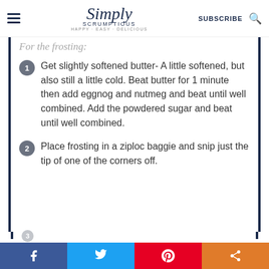Simply Scrumptious — HAPPY · EASY · DELICIOUS | SUBSCRIBE
For the frosting:
Get slightly softened butter- A little softened, but also still a little cold. Beat butter for 1 minute then add eggnog and nutmeg and beat until well combined. Add the powdered sugar and beat until well combined.
Place frosting in a ziploc baggie and snip just the tip of one of the corners off.